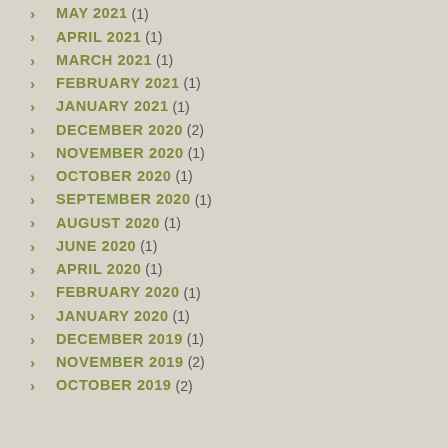MAY 2021 (1)
APRIL 2021 (1)
MARCH 2021 (1)
FEBRUARY 2021 (1)
JANUARY 2021 (1)
DECEMBER 2020 (2)
NOVEMBER 2020 (1)
OCTOBER 2020 (1)
SEPTEMBER 2020 (1)
AUGUST 2020 (1)
JUNE 2020 (1)
APRIL 2020 (1)
FEBRUARY 2020 (1)
JANUARY 2020 (1)
DECEMBER 2019 (1)
NOVEMBER 2019 (2)
OCTOBER 2019 (2)